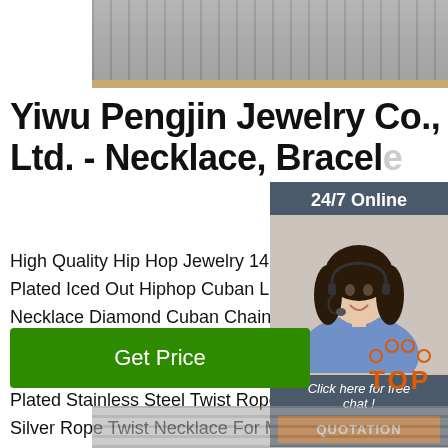[Figure (photo): Top photo showing metal/industrial surface (striped material)]
Yiwu Pengjin Jewelry Co., Ltd. - Necklace, Bracele...
High Quality Hip Hop Jewelry 14MM Silver Plated Iced Out Hiphop Cuban Link Chain Necklace Diamond Cuban Chain For Men Women. $28.00 - $85.00 Piece. 2.0 Pieces (Min. Order) Wholesale 3MM 4MM 5MM 6MM Gold Plated Stainless Steel Twist Rope Chain Silver Rope Twist Necklace For Men Women. $0.75 - $3.50 Piece.
[Figure (photo): 24/7 Online chat widget with customer service representative photo]
[Figure (other): Get Price green button]
[Figure (logo): TOP logo in orange with dots forming a triangle above the text]
[Figure (photo): Bottom photo showing cylindrical metal rods or tubes]